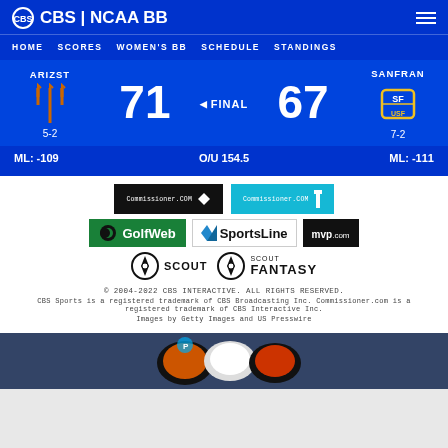CBS | NCAA BB
HOME   SCORES   WOMEN'S BB   SCHEDULE   STANDINGS
ARIZST 71 FINAL 67 SANFRAN | 5-2 / 7-2
ML: -109   O/U 154.5   ML: -111
[Figure (screenshot): Commissioner.com dark logo and Commissioner.com blue logo]
[Figure (logo): GolfWeb logo, SportsLine logo, mvp.com logo]
[Figure (logo): Scout logo and Scout Fantasy logo]
© 2004-2022 CBS INTERACTIVE. ALL RIGHTS RESERVED.
CBS Sports is a registered trademark of CBS Broadcasting Inc. Commissioner.com is a registered trademark of CBS Interactive Inc.
Images by Getty Images and US Presswire
[Figure (photo): Football players in helmets from multiple NFL teams, advertisement banner]